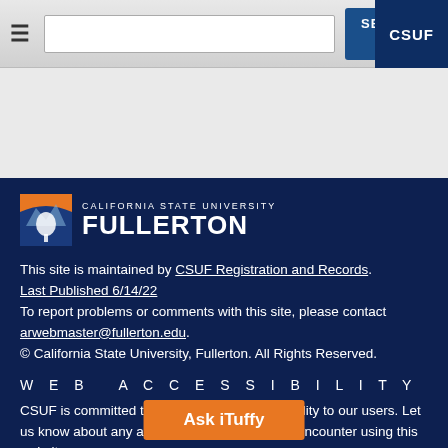≡  [search input]  SEARCH  CSUF
[Figure (logo): California State University Fullerton logo with tree icon and orange/blue colors]
This site is maintained by CSUF Registration and Records. Last Published 6/14/22
To report problems or comments with this site, please contact arwebmaster@fullerton.edu. © California State University, Fullerton. All Rights Reserved.
WEB ACCESSIBILITY
CSUF is committed to ensuring equal accessibility to our users. Let us know about any accessibility problems you encounter using this website. We'll do our best to address issues and get you the information yo...
Ask iTuffy